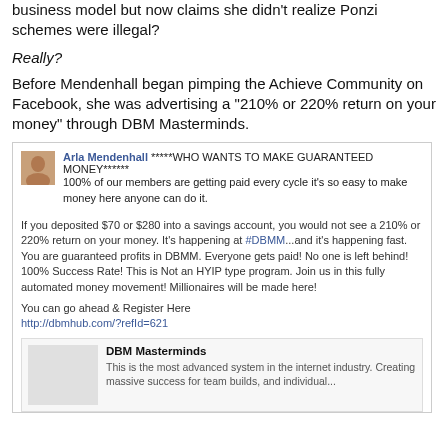business model but now claims she didn't realize Ponzi schemes were illegal?
Really?
Before Mendenhall began pimping the Achieve Community on Facebook, she was advertising a “210% or 220% return on your money” through DBM Masterminds.
[Figure (screenshot): Facebook post screenshot by Arla Mendenhall promoting DBM Masterminds, claiming guaranteed money and 210% or 220% returns, with a link preview card for DBM Masterminds.]